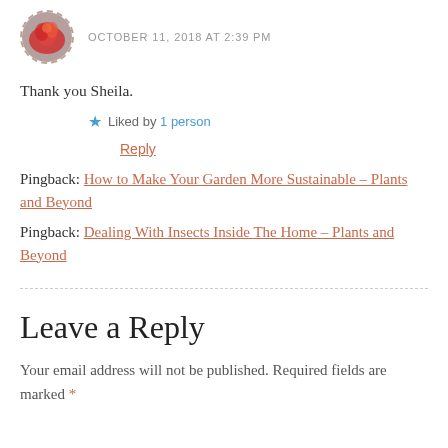[Figure (photo): Circular avatar photo with dashed border showing a red rose]
OCTOBER 11, 2018 AT 2:39 PM
Thank you Sheila.
★ Liked by 1 person
Reply
Pingback: How to Make Your Garden More Sustainable – Plants and Beyond
Pingback: Dealing With Insects Inside The Home – Plants and Beyond
Leave a Reply
Your email address will not be published. Required fields are marked *